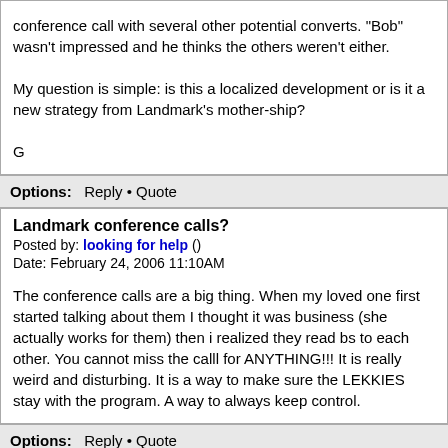conference call with several other potential converts. "Bob" wasn't impressed and he thinks the others weren't either.

My question is simple: is this a localized development or is it a new strategy from Landmark's mother-ship?

G
Options: Reply • Quote
Landmark conference calls?
Posted by: looking for help ()
Date: February 24, 2006 11:10AM
The conference calls are a big thing. When my loved one first started talking about them I thought it was business (she actually works for them) then i realized they read bs to each other. You cannot miss the calll for ANYTHING!!! It is really weird and disturbing. It is a way to make sure the LEKKIES stay with the program. A way to always keep control.
Options: Reply • Quote
Landmark conference calls?
Posted by: grub ()
Date: February 24, 2006 11:58AM
Quote
looking for help
The conference calls are a big thing. When my loved one first started talking about them I thought it was business (she actually works for them) then i